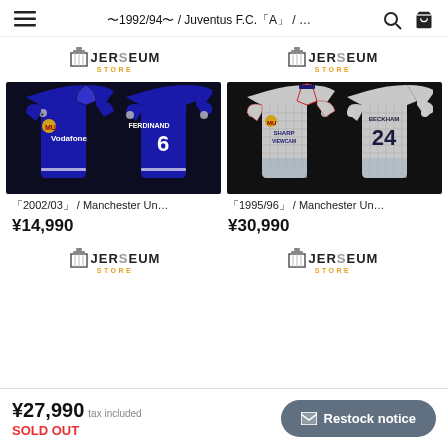≪1992/94≫ / Juventus F.C.｜A…/ …
[Figure (photo): Jerseum Store logo (left product)]
[Figure (photo): Manchester United blue away jersey 2002/03, Ferdinand #6, front and back]
≪2002/03≫ / Manchester Un…
¥14,990
[Figure (photo): Jerseum Store logo (right product)]
[Figure (photo): Manchester United grey away jersey 1995/96, Beckham #24, front and back]
≪1995/96≫ / Manchester Un…
¥30,990
[Figure (logo): Jerseum Store logo bottom left]
[Figure (logo): Jerseum Store logo bottom right]
¥27,990 tax included
SOLD OUT
✉ Restock notice